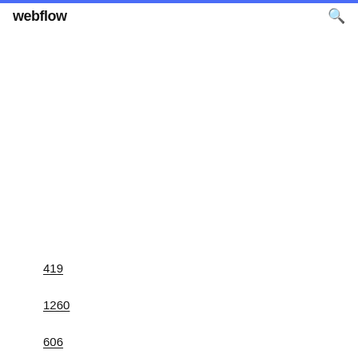webflow
419
1260
606
1306
260
1403